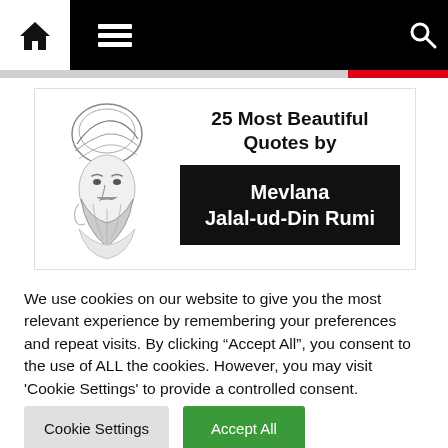Navigation bar with home, menu, and search icons
[Figure (illustration): Banner image showing a pencil sketch illustration of Mevlana (a bearded man wearing a turban) on the left, with text '25 Most Beautiful Quotes by Mevlana Jalal-ud-Din Rumi' on the right on a white/black background.]
We use cookies on our website to give you the most relevant experience by remembering your preferences and repeat visits. By clicking "Accept All", you consent to the use of ALL the cookies. However, you may visit 'Cookie Settings' to provide a controlled consent.
Cookie Settings    Accept All